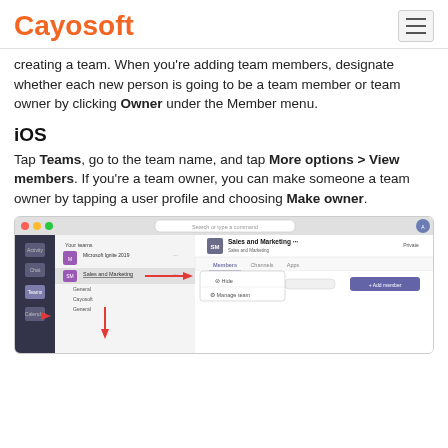Cayosoft
creating a team. When you're adding team members, designate whether each new person is going to be a team member or team owner by clicking Owner under the Member menu.
iOS
Tap Teams, go to the team name, and tap More options > View members. If you're a team owner, you can make someone a team owner by tapping a user profile and choosing Make owner.
[Figure (screenshot): Microsoft Teams desktop application screenshot showing Sales and Marketing team selected, with Members tab open and options including Hide and Manage team visible. Red arrows point to the team in the sidebar and to the menu options.]